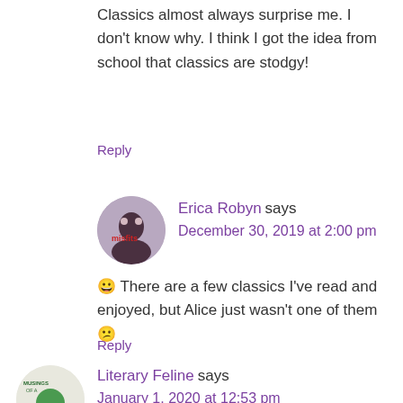Classics almost always surprise me. I don't know why. I think I got the idea from school that classics are stodgy!
Reply
[Figure (photo): Circular avatar photo of Erica Robyn]
Erica Robyn says
December 30, 2019 at 2:00 pm
😀 There are a few classics I've read and enjoyed, but Alice just wasn't one of them 😕
Reply
[Figure (photo): Circular avatar logo for Literary Feline (Musings of a Bookish Kitty)]
Literary Feline says
January 1, 2020 at 12:53 pm
I didn't read much in the way of horror this past year at all, sadly. You've got me wanting to give